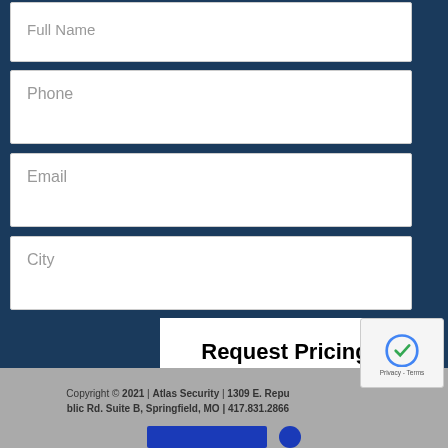Full Name
Phone
Email
City
Request Pricing
Medical Alert   Pay Your Invoice
Referral Program   Blog   About Us
Our Sales Team   Contact Us   Support
Copyright © 2021 | Atlas Security | 1309 E. Republic Rd. Suite B, Springfield, MO | 417.831.2866